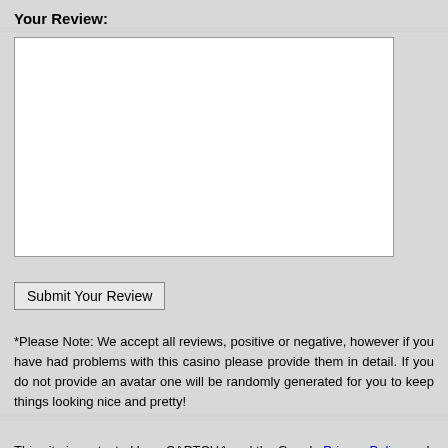Your Review:
*Please Note: We accept all reviews, positive or negative, however if you have had problems with this casino please provide them in detail. If you do not provide an avatar one will be randomly generated for you to keep things looking nice and pretty!
This site is protected by reCAPTCHA and the Google Privacy Policy and Terms of Service apply.
[Figure (screenshot): Dark banner with red double-arrow and yellow bold text: CLICK HERE TO PLAY AT BODOG CASINO]